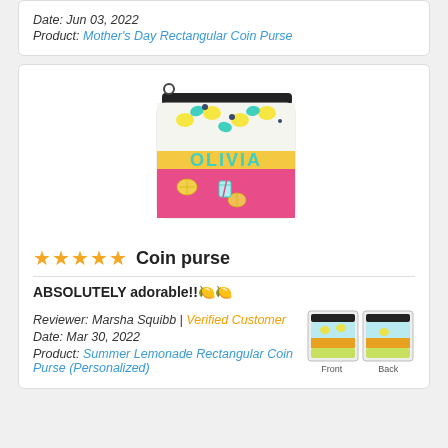Date: Jun 03, 2022
Product: Mother's Day Rectangular Coin Purse
[Figure (photo): Rectangular coin purse with black zipper, personalized with name OLIVIA, lemon and teal pattern on white top section, pink bottom section with fruit illustrations]
★★★★★ Coin purse
ABSOLUTELY adorable!!🍋🍋
Reviewer: Marsha Squibb | Verified Customer
Date: Mar 30, 2022
Product: Summer Lemonade Rectangular Coin Purse (Personalized)
[Figure (photo): Two small thumbnail images of the coin purse showing Front and Back views with lemonade summer design]